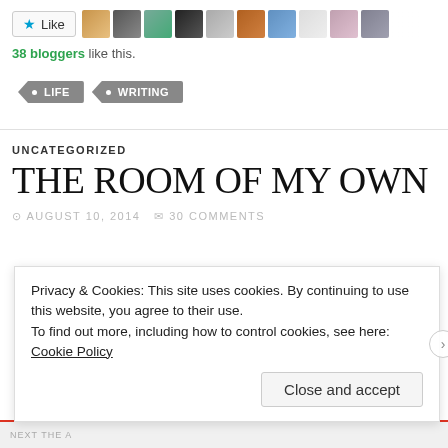[Figure (screenshot): Like button with star icon, followed by a row of blogger avatar thumbnails]
38 bloggers like this.
LIFE
WRITING
UNCATEGORIZED
THE ROOM OF MY OWN
AUGUST 10, 2014   30 COMMENTS
Privacy & Cookies: This site uses cookies. By continuing to use this website, you agree to their use.
To find out more, including how to control cookies, see here: Cookie Policy
Close and accept